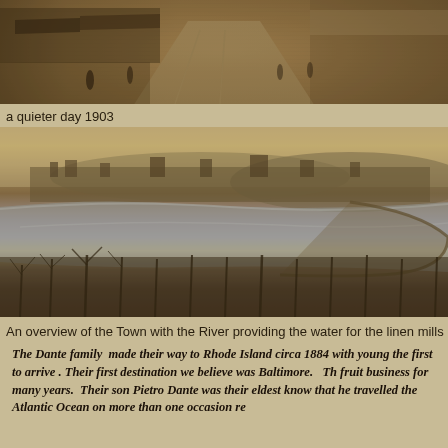[Figure (photo): Sepia-toned historical photograph of a busy street scene from 1903, showing storefronts with awnings on both sides, trolley tracks visible on the road, and pedestrians walking along the sidewalks.]
a quieter day 1903
[Figure (photo): Sepia-toned panoramic overview photograph of a town with a river curving through it, bare winter trees in the foreground, and buildings and hills visible in the background. The river provided water for linen mills.]
An overview of the Town with the River providing the water for the linen mills
The Dante family  made their way to Rhode Island circa 1884 with young the first to arrive . Their first destination we believe was Baltimore.   Th fruit business for many years.  Their son Pietro Dante was their eldest know that he travelled the Atlantic Ocean on more than one occasion re